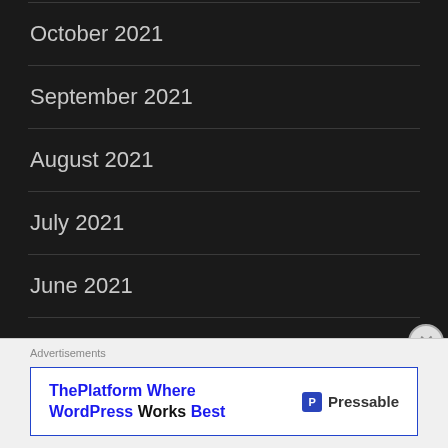October 2021
September 2021
August 2021
July 2021
June 2021
May 2021
April 2021
Advertisements
ThePlatform Where WordPress Works Best  Pressable